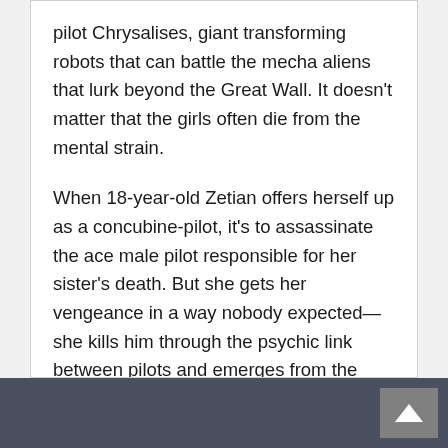pilot Chrysalises, giant transforming robots that can battle the mecha aliens that lurk beyond the Great Wall. It doesn't matter that the girls often die from the mental strain.
When 18-year-old Zetian offers herself up as a concubine-pilot, it's to assassinate the ace male pilot responsible for her sister's death. But she gets her vengeance in a way nobody expected—she kills him through the psychic link between pilots and emerges from the cockpit unscathed. She is labeled an Iron Widow, a much-feared and much-silenced kind of female pilot who can sacrifice boys to power up
[Figure (other): Dark grey footer bar with a grey back-to-top button containing an upward arrow in the bottom-right corner]